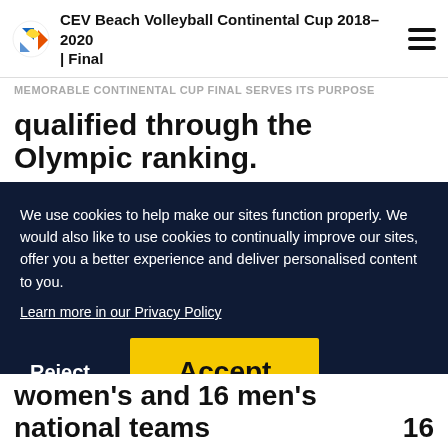CEV Beach Volleyball Continental Cup 2018-2020 | Final
MEMORABLE CONTINENTAL CUP FINAL SERVES ITS PURPOSE
qualified through the Olympic ranking.
We use cookies to help make our sites function properly. We would also like to use cookies to continually improve our sites, offer you a better experience and deliver personalised content to you.
Learn more in our Privacy Policy
Reject
Accept
16 women's and 16 men's national teams